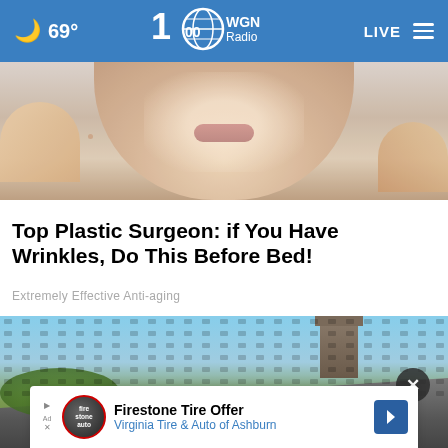🌙 69° | WGN Radio 100 | LIVE
[Figure (photo): Close-up photo of a person's lower face and neck, skin visible, with hands near face — anti-aging skincare context]
Top Plastic Surgeon: if You Have Wrinkles, Do This Before Bed!
Extremely Effective Anti-aging
[Figure (photo): Photo of a rooftop/building exterior with blue sky and grid/screen overlay, with a close (X) button overlay and an ad banner at the bottom: Firestone Tire Offer — Virginia Tire & Auto of Ashburn]